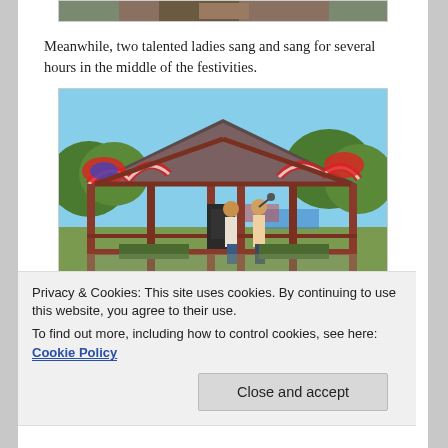[Figure (photo): Partial top of a photo visible at the very top of the page, cropped, showing what appears to be a person outdoors.]
Meanwhile, two talented ladies sang and sang for several hours in the middle of the festivities.
[Figure (photo): A red wooden gazebo decorated with American flag bunting, with two people visible inside performing or singing, surrounded by trees and a festive outdoor event in the background.]
Privacy & Cookies: This site uses cookies. By continuing to use this website, you agree to their use.
To find out more, including how to control cookies, see here: Cookie Policy
Close and accept